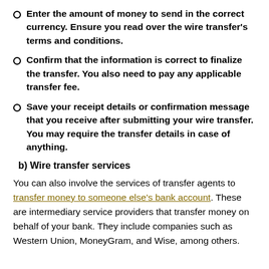Enter the amount of money to send in the correct currency. Ensure you read over the wire transfer's terms and conditions.
Confirm that the information is correct to finalize the transfer. You also need to pay any applicable transfer fee.
Save your receipt details or confirmation message that you receive after submitting your wire transfer. You may require the transfer details in case of anything.
b) Wire transfer services
You can also involve the services of transfer agents to transfer money to someone else's bank account. These are intermediary service providers that transfer money on behalf of your bank. They include companies such as Western Union, MoneyGram, and Wise, among others.